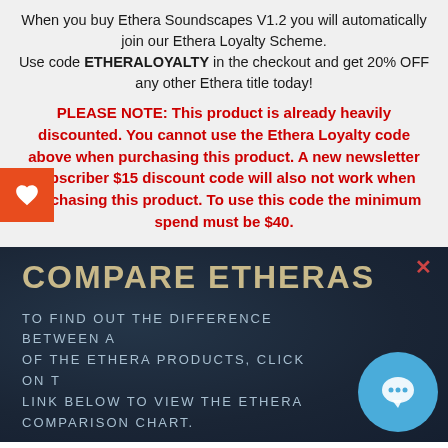When you buy Ethera Soundscapes V1.2 you will automatically join our Ethera Loyalty Scheme. Use code ETHERALOYALTY in the checkout and get 20% OFF any other Ethera title today!
PLEASE NOTE: This product is already heavily discounted. You cannot use the Ethera Loyalty code above when purchasing this product. A new newsletter subscriber $15 discount code will also not work when purchasing this product. To use this code the minimum spend must be $40.
COMPARE ETHERAS
TO FIND OUT THE DIFFERENCE BETWEEN ALL OF THE ETHERA PRODUCTS, CLICK ON THE LINK BELOW TO VIEW THE ETHERA COMPARISON CHART.